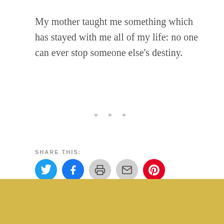My mother taught me something which has stayed with me all of my life: no one can ever stop someone else's destiny.
* * *
SHARE THIS:
[Figure (infographic): Row of five social sharing icon buttons: Twitter (blue), Facebook (blue), Print (gray), Email (gray), Pinterest (red)]